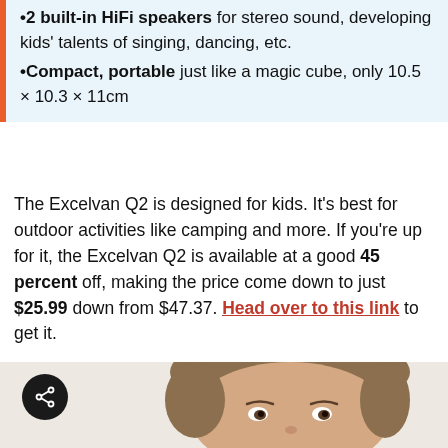•2 built-in HiFi speakers for stereo sound, developing kids' talents of singing, dancing, etc.
•Compact, portable just like a magic cube, only 10.5 × 10.3 × 11cm
The Excelvan Q2 is designed for kids. It's best for outdoor activities like camping and more. If you're up for it, the Excelvan Q2 is available at a good 45 percent off, making the price come down to just $25.99 down from $47.37. Head over to this link to get it.
[Figure (photo): Photo of a young boy's head and face, cropped, with a light/neutral background. A dark circular share button icon is visible in the lower-left of the image area.]